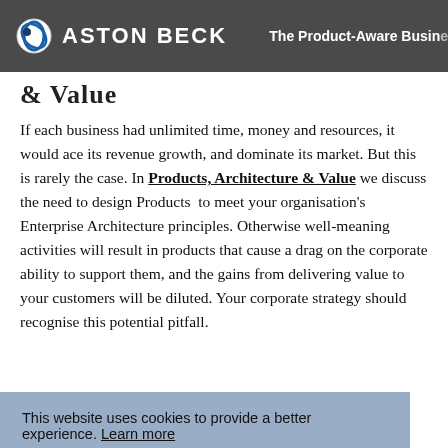Aston Beck — The Product-Aware Business
& Value
If each business had unlimited time, money and resources, it would ace its revenue growth, and dominate its market. But this is rarely the case. In Products, Architecture & Value we discuss the need to design Products to meet your organisation's Enterprise Architecture principles. Otherwise well-meaning activities will result in products that cause a drag on the corporate ability to support them, and the gains from delivering value to your customers will be diluted. Your corporate strategy should recognise this potential pitfall.
This website uses cookies to provide a better experience. Learn more
I agree to cookies
[Figure (photo): Blue abstract technology/architecture image strip at bottom of page]